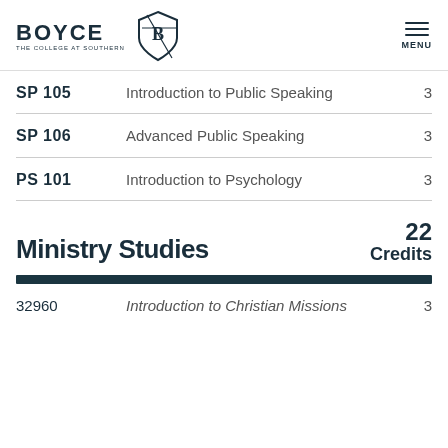BOYCE The College at Southern — MENU
| Code | Course Title | Credits |
| --- | --- | --- |
| SP 105 | Introduction to Public Speaking | 3 |
| SP 106 | Advanced Public Speaking | 3 |
| PS 101 | Introduction to Psychology | 3 |
Ministry Studies — 22 Credits
| Code | Course Title | Credits |
| --- | --- | --- |
| 32960 | Introduction to Christian Missions | 3 |